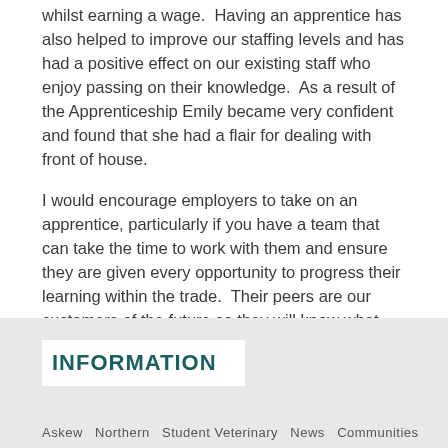whilst earning a wage.  Having an apprentice has also helped to improve our staffing levels and has had a positive effect on our existing staff who enjoy passing on their knowledge.  As a result of the Apprenticeship Emily became very confident and found that she had a flair for dealing with front of house.
I would encourage employers to take on an apprentice, particularly if you have a team that can take the time to work with them and ensure they are given every opportunity to progress their learning within the trade.  Their peers are our customers of the future so they will know what younger generations are looking for and can bring some great ideas into your business.
INFORMATION
Askew Northern Student Veterinary News Communities